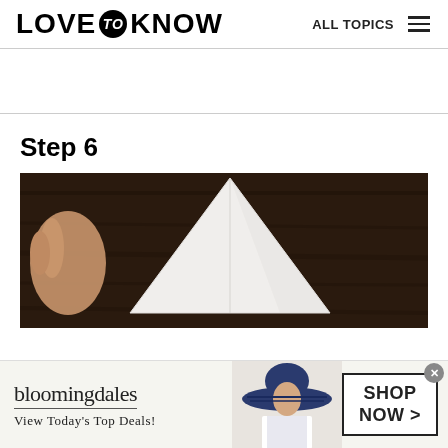LOVE to KNOW  ALL TOPICS
Step 6
[Figure (photo): Close-up photo of a hand folding a white napkin on a dark wooden surface, showing a triangular fold.]
[Figure (photo): Bloomingdale's advertisement banner showing a woman wearing a large navy blue hat, with text 'bloomingdales View Today's Top Deals!' and a 'SHOP NOW >' button.]